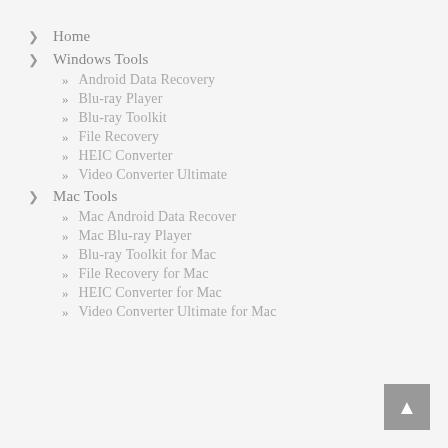> Home
> Windows Tools
>> Android Data Recovery
>> Blu-ray Player
>> Blu-ray Toolkit
>> File Recovery
>> HEIC Converter
>> Video Converter Ultimate
> Mac Tools
>> Mac Android Data Recover
>> Mac Blu-ray Player
>> Blu-ray Toolkit for Mac
>> File Recovery for Mac
>> HEIC Converter for Mac
>> Video Converter Ultimate for Mac